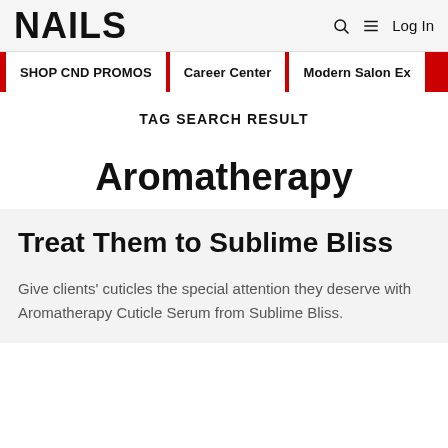NAILS | Log In
SHOP CND PROMOS | Career Center | Modern Salon Ex
TAG SEARCH RESULT
Aromatherapy
Treat Them to Sublime Bliss
Give clients' cuticles the special attention they deserve with Aromatherapy Cuticle Serum from Sublime Bliss.